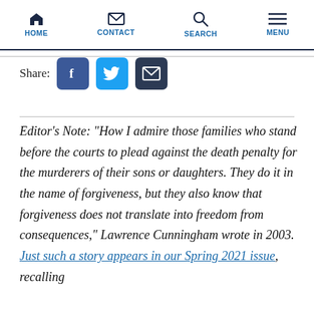HOME  CONTACT  SEARCH  MENU
[Figure (other): Social share buttons row: Facebook (blue), Twitter (cyan), Email (dark navy)]
Editor’s Note: “How I admire those families who stand before the courts to plead against the death penalty for the murderers of their sons or daughters. They do it in the name of forgiveness, but they also know that forgiveness does not translate into freedom from consequences,” Lawrence Cunningham wrote in 2003. Just such a story appears in our Spring 2021 issue, recalling